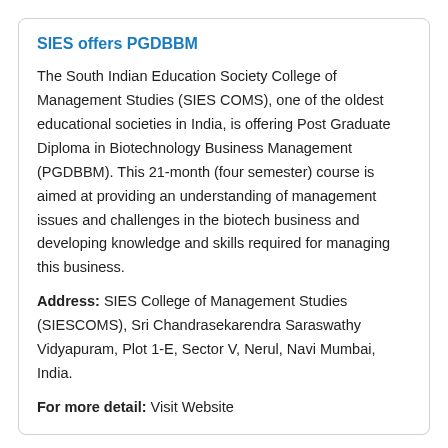SIES offers PGDBBM
The South Indian Education Society College of Management Studies (SIES COMS), one of the oldest educational societies in India, is offering Post Graduate Diploma in Biotechnology Business Management (PGDBBM). This 21-month (four semester) course is aimed at providing an understanding of management issues and challenges in the biotech business and developing knowledge and skills required for managing this business.
Address: SIES College of Management Studies (SIESCOMS), Sri Chandrasekarendra Saraswathy Vidyapuram, Plot 1-E, Sector V, Nerul, Navi Mumbai, India.
For more detail: Visit Website
A variety of distance learning programs by BII
Delhi-based Bioinformatics Institute of India offers a PG diploma in bioinformatics and a range of distance learning programs in biotechnology areas. Bioinformatics, Intellectual Property Rights, Pharma, bioMedical